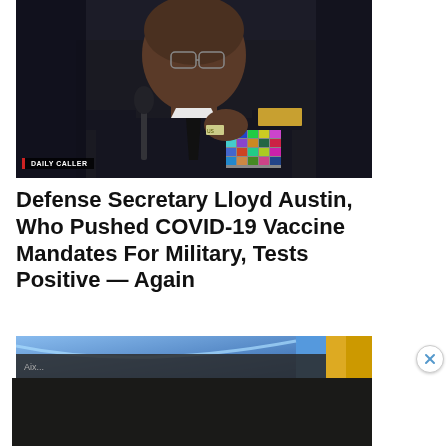[Figure (photo): Military officer in dark uniform with medals and ribbons speaking at a hearing, with a microphone in front, 'DAILY CALLER' watermark in lower-left corner]
Defense Secretary Lloyd Austin, Who Pushed COVID-19 Vaccine Mandates For Military, Tests Positive — Again
[Figure (screenshot): Partial screenshot of a video or web page with blue and yellow graphic design elements]
[Figure (infographic): Advertisement banner: 'HOW PROGRESSIVES SOLD OUT RURAL TOWNS TO FOREIGN DRUG LORDS' with 'WATCH NOW' button and 'NARCOFORNIA' branding on dark background with plant imagery]